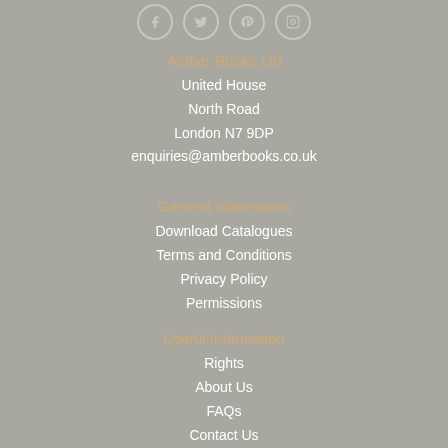[Figure (other): Social media icons: Facebook, Twitter, Pinterest, Instagram in circular borders]
Amber Books Ltd
United House
North Road
London N7 9DP
enquiries@amberbooks.co.uk
General Information
Download Catalogues
Terms and Conditions
Privacy Policy
Permissions
Useful Information
Rights
About Us
FAQs
Contact Us